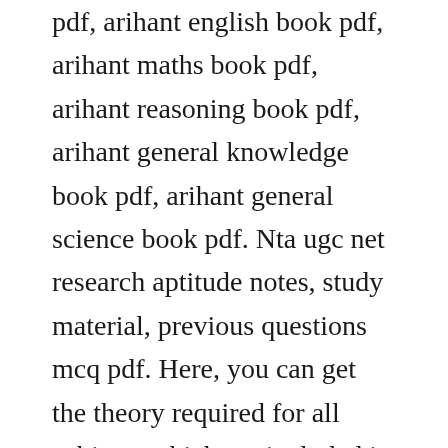pdf, arihant english book pdf, arihant maths book pdf, arihant reasoning book pdf, arihant general knowledge book pdf, arihant general science book pdf. Nta ugc net research aptitude notes, study material, previous questions mcq pdf. Here, you can get the theory required for all subjects which are included in the ugc net exam.
Management study material for nta ugc net updated for 2020. Dec 19, 2017 truemans ugc net commerce pdf ebook free download by parveen. Click here for teaching and research aptitude preparation tips ugc net mock test